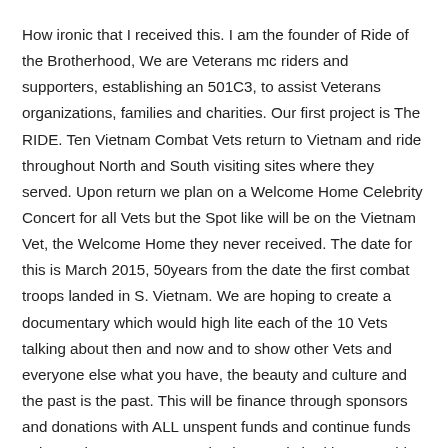How ironic that I received this. I am the founder of Ride of the Brotherhood, We are Veterans mc riders and supporters, establishing an 501C3, to assist Veterans organizations, families and charities. Our first project is The RIDE. Ten Vietnam Combat Vets return to Vietnam and ride throughout North and South visiting sites where they served. Upon return we plan on a Welcome Home Celebrity Concert for all Vets but the Spot like will be on the Vietnam Vet, the Welcome Home they never received. The date for this is March 2015, 50years from the date the first combat troops landed in S. Vietnam. We are hoping to create a documentary which would high lite each of the 10 Vets talking about then and now and to show other Vets and everyone else what you have, the beauty and culture and the past is the past. This will be finance through sponsors and donations with ALL unspent funds and continue funds going to the Veterans organizations and charities. I would enjoy talking with you and sure it would be very informative. Your photos have increased the participation on making this trip.